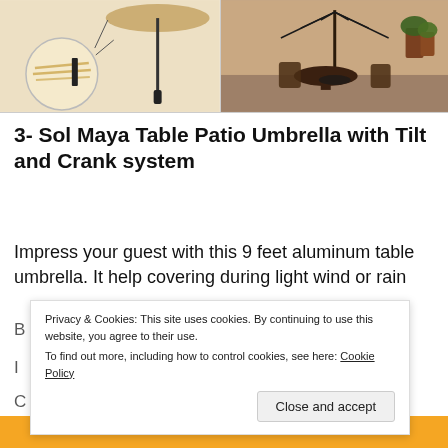[Figure (photo): Two product photos: left shows close-up of umbrella pole mechanism with detail circle inset and full umbrella on stand; right shows outdoor patio scene with table, chairs and umbrella in a courtyard setting.]
3- Sol Maya Table Patio Umbrella with Tilt and Crank system
Impress your guest with this 9 feet aluminum table umbrella. It help covering during light wind or rain
Privacy & Cookies: This site uses cookies. By continuing to use this website, you agree to their use.
To find out more, including how to control cookies, see here: Cookie Policy
Close and accept